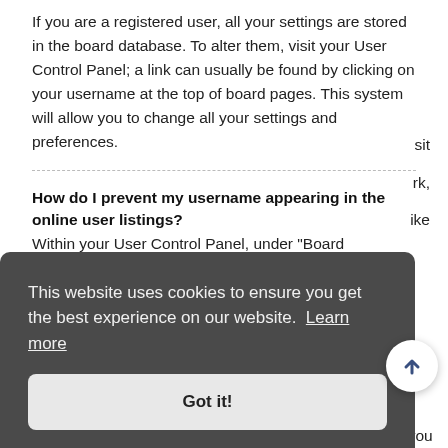If you are a registered user, all your settings are stored in the board database. To alter them, visit your User Control Panel; a link can usually be found by clicking on your username at the top of board pages. This system will allow you to change all your settings and preferences.
How do I prevent my username appearing in the online user listings?
Within your User Control Panel, under "Board preferences", you will find the option Hide your online status. Enable this option and you will only appear to the administrators, moderators and yourself. You will be counted as a hidden user.
[Figure (screenshot): Cookie consent banner overlay with dark grey background reading 'This website uses cookies to ensure you get the best experience on our website. Learn more' and a 'Got it!' button. A scroll-to-top circular button with an upward arrow is visible in the lower right.]
most settings, can only be done by registered users. If you